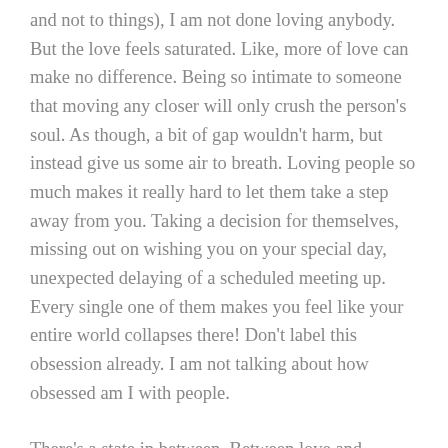and not to things), I am not done loving anybody. But the love feels saturated. Like, more of love can make no difference. Being so intimate to someone that moving any closer will only crush the person's soul. As though, a bit of gap wouldn't harm, but instead give us some air to breath. Loving people so much makes it really hard to let them take a step away from you. Taking a decision for themselves, missing out on wishing you on your special day, unexpected delaying of a scheduled meeting up. Every single one of them makes you feel like your entire world collapses there! Don't label this obsession already. I am not talking about how obsessed am I with people.
There's a state in between. Between love and obsession. Between hatred and falling apart. A